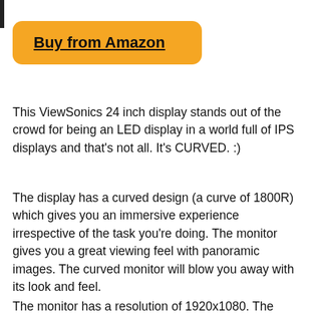[Figure (other): Vertical black bar at the top-left of the page]
Buy from Amazon
This ViewSonics 24 inch display stands out of the crowd for being an LED display in a world full of IPS displays and that's not all. It's CURVED. :)
The display has a curved design (a curve of 1800R) which gives you an immersive experience irrespective of the task you're doing. The monitor gives you a great viewing feel with panoramic images. The curved monitor will blow you away with its look and feel.
The monitor has a resolution of 1920x1080. The